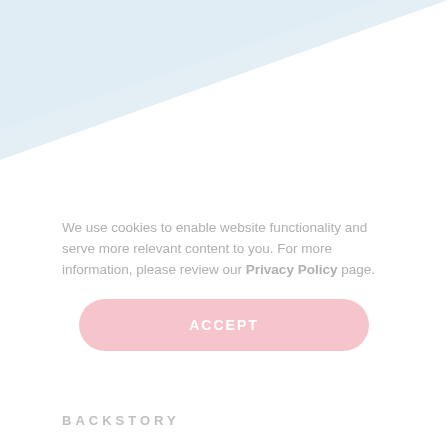[Figure (illustration): Light blue diagonal triangle/banner at the top of the page, fading into white]
We use cookies to enable website functionality and serve more relevant content to you. For more information, please review our Privacy Policy page.
ACCEPT
BACKSTORY